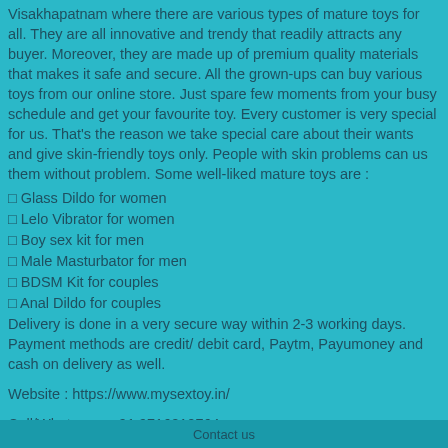Visakhapatnam where there are various types of mature toys for all. They are all innovative and trendy that readily attracts any buyer. Moreover, they are made up of premium quality materials that makes it safe and secure. All the grown-ups can buy various toys from our online store. Just spare few moments from your busy schedule and get your favourite toy. Every customer is very special for us. That’s the reason we take special care about their wants and give skin-friendly toys only. People with skin problems can us them without problem. Some well-liked mature toys are :
□ Glass Dildo for women
□ Lelo Vibrator for women
□ Boy sex kit for men
□ Male Masturbator for men
□ BDSM Kit for couples
□ Anal Dildo for couples
Delivery is done in a very secure way within 2-3 working days. Payment methods are credit/ debit card, Paytm, Payumoney and cash on delivery as well.
Website : https://www.mysextoy.in/
Call/Whatsapp: +91 9716210764
Contact us